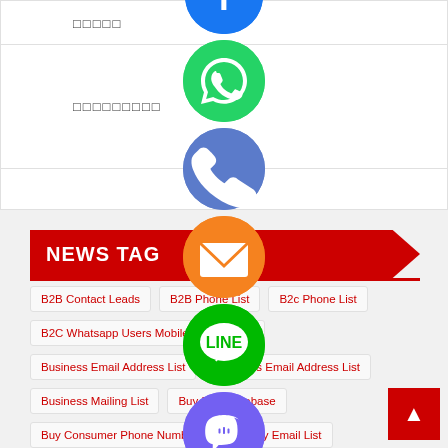□□□□□
□□□□□□□□□
NEWS TAG
B2B Contact Leads
B2B Phone List
B2c Phone List
B2C Whatsapp Users Mobile Number List
Business Email Address List
Business Email Address List
Business Mailing List
Buy B2B Database
Buy Consumer Phone Number List
Buy Email List
C-Level Executive List
Cell Phone Number List
Cold Calling List
Consumer Phone List